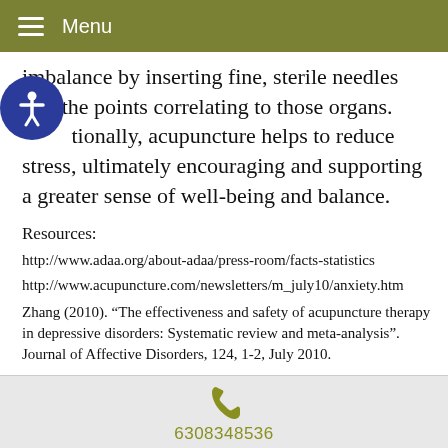Menu
imbalance by inserting fine, sterile needles into the points correlating to those organs. Additionally, acupuncture helps to reduce stress, ultimately encouraging and supporting a greater sense of well-being and balance.
Resources:
http://www.adaa.org/about-adaa/press-room/facts-statistics
http://www.acupuncture.com/newsletters/m_july10/anxiety.htm
Zhang (2010). “The effectiveness and safety of acupuncture therapy in depressive disorders: Systematic review and meta-analysis”. Journal of Affective Disorders, 124, 1-2, July 2010.
6308348536